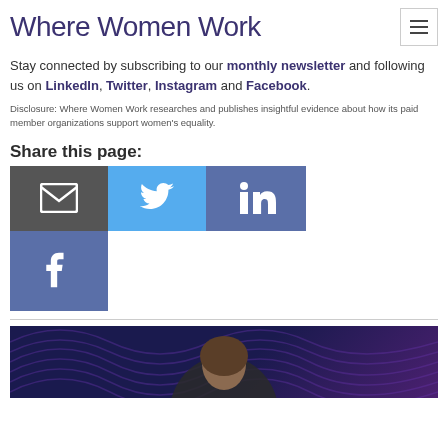Where Women Work
Stay connected by subscribing to our monthly newsletter and following us on LinkedIn, Twitter, Instagram and Facebook.
Disclosure: Where Women Work researches and publishes insightful evidence about how its paid member organizations support women's equality.
Share this page:
[Figure (infographic): Social media share buttons: email (grey), Twitter (light blue), LinkedIn (blue-purple), Facebook (blue-purple)]
[Figure (photo): Photo of a woman with brown hair against a dark purple/navy background with wave patterns]